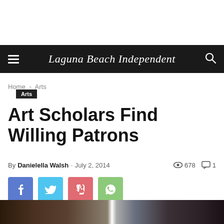Laguna Beach Independent
Home › Arts
Arts
Art Scholars Find Willing Patrons
By Danielella Walsh - July 2, 2014  678  1
[Figure (photo): Article thumbnail image showing a blurred outdoor scene]
[Figure (infographic): Social share buttons: Facebook, Twitter, Pinterest, WhatsApp]